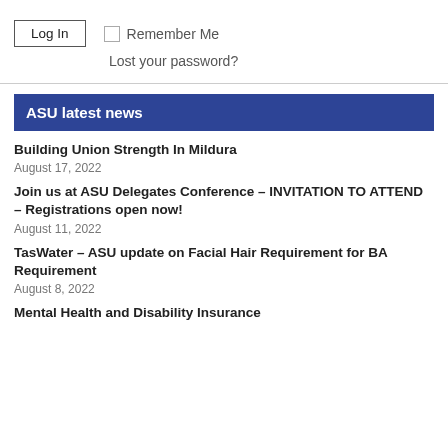[Figure (other): Log In button with checkbox and Remember Me label, plus Lost your password? link]
ASU latest news
Building Union Strength In Mildura
August 17, 2022
Join us at ASU Delegates Conference – INVITATION TO ATTEND – Registrations open now!
August 11, 2022
TasWater – ASU update on Facial Hair Requirement for BA Requirement
August 8, 2022
Mental Health and Disability Insurance